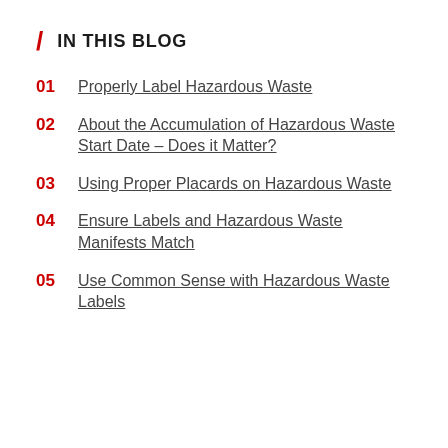/ IN THIS BLOG
01 Properly Label Hazardous Waste
02 About the Accumulation of Hazardous Waste Start Date – Does it Matter?
03 Using Proper Placards on Hazardous Waste
04 Ensure Labels and Hazardous Waste Manifests Match
05 Use Common Sense with Hazardous Waste Labels